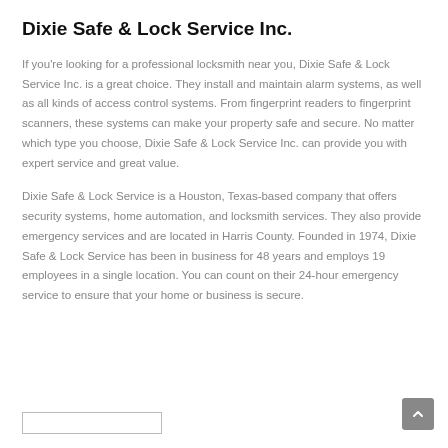Dixie Safe & Lock Service Inc.
If you're looking for a professional locksmith near you, Dixie Safe & Lock Service Inc. is a great choice. They install and maintain alarm systems, as well as all kinds of access control systems. From fingerprint readers to fingerprint scanners, these systems can make your property safe and secure. No matter which type you choose, Dixie Safe & Lock Service Inc. can provide you with expert service and great value.
Dixie Safe & Lock Service is a Houston, Texas-based company that offers security systems, home automation, and locksmith services. They also provide emergency services and are located in Harris County. Founded in 1974, Dixie Safe & Lock Service has been in business for 48 years and employs 19 employees in a single location. You can count on their 24-hour emergency service to ensure that your home or business is secure.